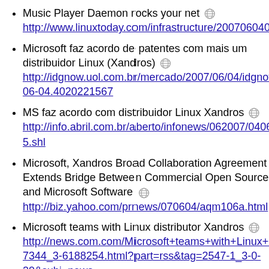Music Player Daemon rocks your net http://www.linuxtoday.com/infrastructure/2007060400...
Microsoft faz acordo de patentes com mais um distribuidor Linux (Xandros) http://idgnow.uol.com.br/mercado/2007/06/04/idgnoti...06-04.4020221567
MS faz acordo com distribuidor Linux Xandros http://info.abril.com.br/aberto/infonews/062007/04062...5.shl
Microsoft, Xandros Broad Collaboration Agreement Extends Bridge Between Commercial Open Source and Microsoft Software http://biz.yahoo.com/prnews/070604/aqm106a.html
Microsoft teams with Linux distributor Xandros http://news.com.com/Microsoft+teams+with+Linux+d...7344_3-6188254.html?part=rss&tag=2547-1_3-0-20&subj=news
Microsoft teams up with Linux distributor Xandros